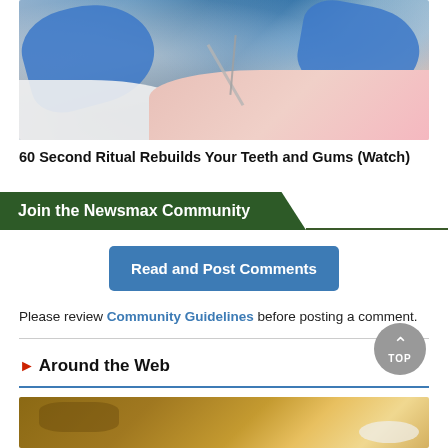[Figure (photo): Dentist with blue gloves examining a patient's teeth with dental tools. Patient wearing pink bib.]
60 Second Ritual Rebuilds Your Teeth and Gums (Watch)
Join the Newsmax Community
Read and Post Comments
Please review Community Guidelines before posting a comment.
Around the Web
[Figure (photo): Bottom portion of a food/nature photo, partially visible.]